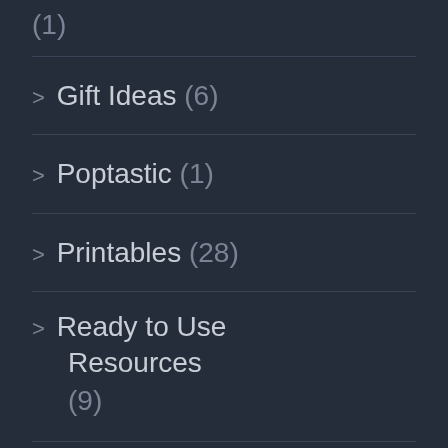(1)
> Gift Ideas (6)
> Poptastic (1)
> Printables (28)
> Ready to Use Resources (9)
> Sensory Toys (2)